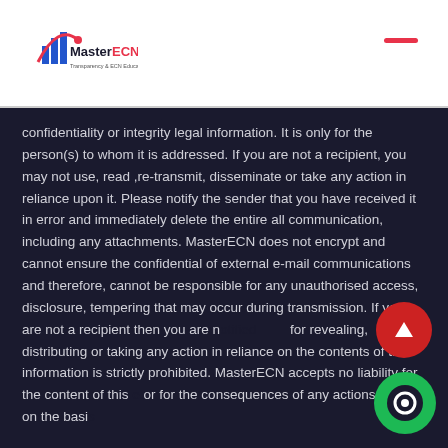MasterECN logo header
confidentiality or integrity legal information. It is only for the person(s) to whom it is addressed. If you are not a recipient, you may not use, read ,re-transmit, disseminate or take any action in reliance upon it. Please notify the sender that you have received it in error and immediately delete the entire all communication, including any attachments. MasterECN does not encrypt and cannot ensure the confidential of external e-mail communications and therefore, cannot be responsible for any unauthorised access, disclosure, tempering that may occur during transmission. If you are not a recipient then you are not for revealing, distributing or taking any action in reliance on the contents of this information is strictly prohibited. MasterECN accepts no liability for the content of this or for the consequences of any actions taken on the basis